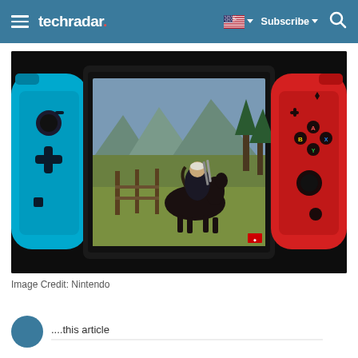techradar | Subscribe | Search
[Figure (screenshot): Nintendo Switch console with neon blue left Joy-Con and neon red right Joy-Con, displaying The Witcher 3 gameplay showing a character on horseback in a countryside landscape. CD Projekt Red logo visible in bottom right corner.]
Image Credit: Nintendo
...this article